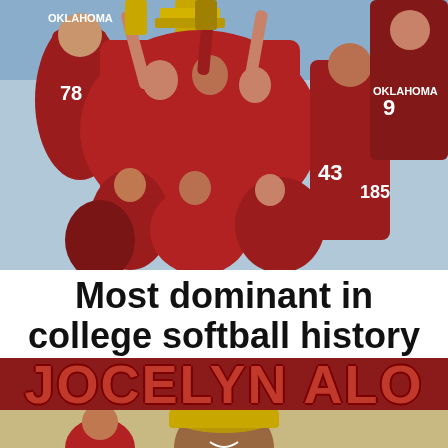[Figure (photo): Oklahoma softball team in red uniforms celebrating, holding up championship trophies, players with jersey numbers 78, 43, 18, 5, 90 visible]
Most dominant in college softball history
JOCELYN ALO
[Figure (photo): Jocelyn Alo smiling, wearing a gold/tan cap, with another player visible to her left]